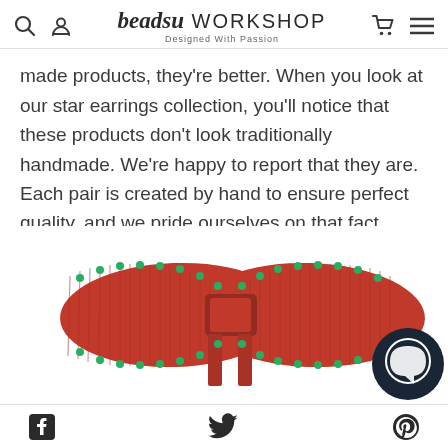beadsu WORKSHOP — Designed With Passion
made products, they're better. When you look at our star earrings collection, you'll notice that these products don't look traditionally handmade. We're happy to report that they are. Each pair is created by hand to ensure perfect quality, and we pride ourselves on that fact.
[Figure (photo): A red grosgrain ribbon bow with green dot embellishments along the edges, centered on a white background. A dark circular chat widget icon is visible in the lower right corner.]
Facebook icon, Twitter icon, Pinterest icon